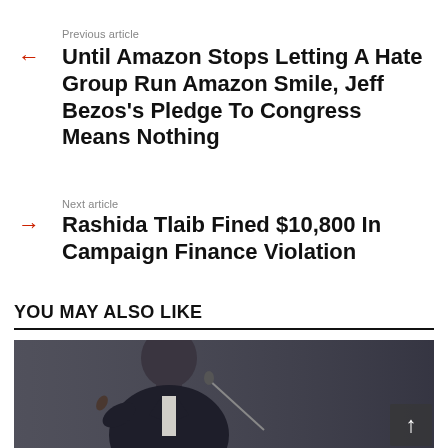Previous article
Until Amazon Stops Letting A Hate Group Run Amazon Smile, Jeff Bezos's Pledge To Congress Means Nothing
Next article
Rashida Tlaib Fined $10,800 In Campaign Finance Violation
YOU MAY ALSO LIKE
[Figure (photo): A man in a dark suit speaking at a podium with a microphone, dark background, appears to be a political figure gesturing with one finger raised.]